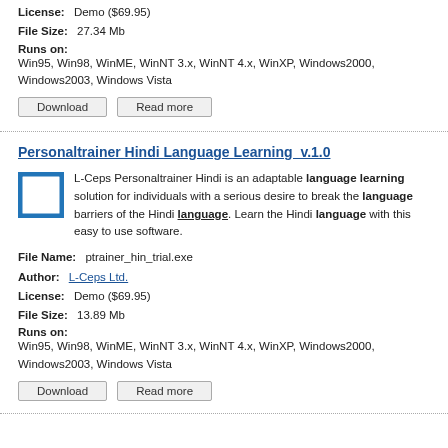License: Demo ($69.95)
File Size: 27.34 Mb
Runs on:
Win95, Win98, WinME, WinNT 3.x, WinNT 4.x, WinXP, Windows2000, Windows2003, Windows Vista
Download | Read more
Personaltrainer Hindi Language Learning  v.1.0
L-Ceps Personaltrainer Hindi is an adaptable language learning solution for individuals with a serious desire to break the language barriers of the Hindi language. Learn the Hindi language with this easy to use software.
File Name: ptrainer_hin_trial.exe
Author: L-Ceps Ltd.
License: Demo ($69.95)
File Size: 13.89 Mb
Runs on:
Win95, Win98, WinME, WinNT 3.x, WinNT 4.x, WinXP, Windows2000, Windows2003, Windows Vista
Download | Read more